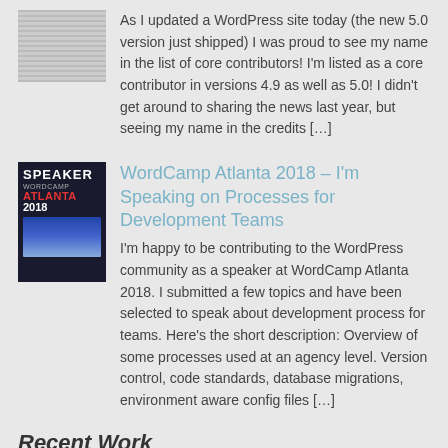[Figure (photo): Placeholder thumbnail image with horizontal line pattern]
As I updated a WordPress site today (the new 5.0 version just shipped) I was proud to see my name in the list of core contributors! I'm listed as a core contributor in versions 4.9 as well as 5.0! I didn't get around to sharing the news last year, but seeing my name in the credits […]
[Figure (photo): Speaker badge for WordCamp Atlanta 2018 with crowd in background]
WordCamp Atlanta 2018 – I'm Speaking on Processes for Development Teams
I'm happy to be contributing to the WordPress community as a speaker at WordCamp Atlanta 2018. I submitted a few topics and have been selected to speak about development process for teams. Here's the short description: Overview of some processes used at an agency level. Version control, code standards, database migrations, environment aware config files […]
Recent Work
[Figure (screenshot): Screenshot of a website with dark header and green button]